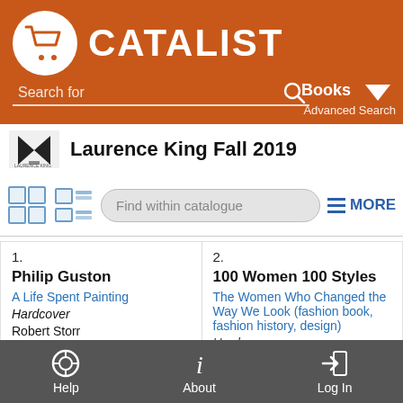[Figure (screenshot): Catalist website header with orange background, shopping cart logo, CATALIST text, search bar with 'Search for' placeholder, Books dropdown, Advanced Search link]
Laurence King Fall 2019
[Figure (infographic): Toolbar with grid/list view icons, 'Find within catalogue' search input, and MORE button with hamburger lines]
1. Philip Guston
A Life Spent Painting
Hardcover
Robert Storr
9781786274168
$122.00
2. 100 Women 100 Styles
The Women Who Changed the Way We Look (fashion book, fashion history, design)
Hardcover
Help   About   Log In